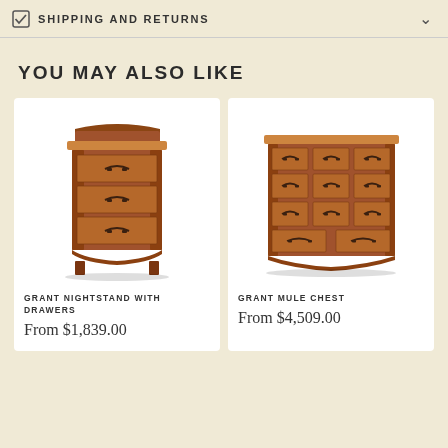SHIPPING AND RETURNS
YOU MAY ALSO LIKE
[Figure (photo): Grant Nightstand with Drawers — wooden nightstand with three drawers and decorative hardware]
GRANT NIGHTSTAND WITH DRAWERS
From $1,839.00
[Figure (photo): Grant Mule Chest — wide wooden chest of drawers with multiple small drawers and decorative hardware]
GRANT MULE CHEST
From $4,509.00